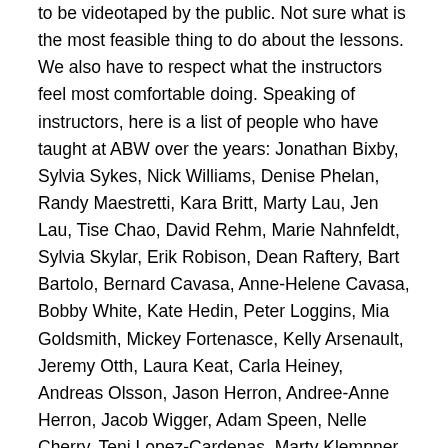to be videotaped by the public. Not sure what is the most feasible thing to do about the lessons. We also have to respect what the instructors feel most comfortable doing. Speaking of instructors, here is a list of people who have taught at ABW over the years: Jonathan Bixby, Sylvia Sykes, Nick Williams, Denise Phelan, Randy Maestretti, Kara Britt, Marty Lau, Jen Lau, Tise Chao, David Rehm, Marie Nahnfeldt, Sylvia Skylar, Erik Robison, Dean Raftery, Bart Bartolo, Bernard Cavasa, Anne-Helene Cavasa, Bobby White, Kate Hedin, Peter Loggins, Mia Goldsmith, Mickey Fortenasce, Kelly Arsenault, Jeremy Otth, Laura Keat, Carla Heiney, Andreas Olsson, Jason Herron, Andree-Anne Herron, Jacob Wigger, Adam Speen, Nelle Cherry, Teni Lopez-Cardenas, Marty Klempner, Joel Plys, and